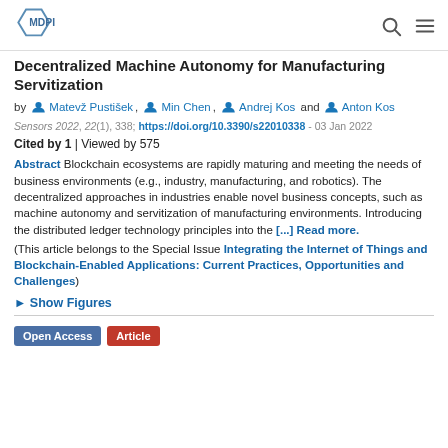MDPI [logo] [search icon] [menu icon]
Decentralized Machine Autonomy for Manufacturing Servitization
by Matevž Pustišek, Min Chen, Andrej Kos and Anton Kos
Sensors 2022, 22(1), 338; https://doi.org/10.3390/s22010338 - 03 Jan 2022
Cited by 1 | Viewed by 575
Abstract Blockchain ecosystems are rapidly maturing and meeting the needs of business environments (e.g., industry, manufacturing, and robotics). The decentralized approaches in industries enable novel business concepts, such as machine autonomy and servitization of manufacturing environments. Introducing the distributed ledger technology principles into the [...] Read more.
(This article belongs to the Special Issue Integrating the Internet of Things and Blockchain-Enabled Applications: Current Practices, Opportunities and Challenges)
► Show Figures
Open Access  Article